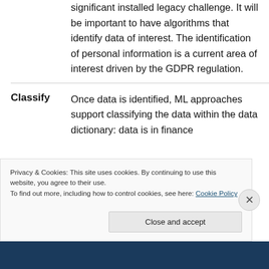For organizations where there is a significant installed legacy challenge. It will be important to have algorithms that identify data of interest. The identification of personal information is a current area of interest driven by the GDPR regulation.
Classify
Once data is identified, ML approaches support classifying the data within the data dictionary: data is in finance
Privacy & Cookies: This site uses cookies. By continuing to use this website, you agree to their use.
To find out more, including how to control cookies, see here: Cookie Policy
Close and accept